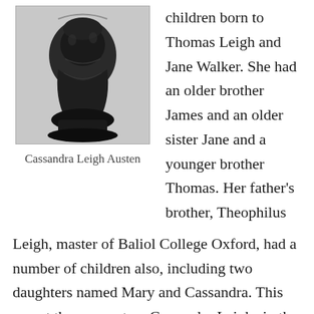[Figure (photo): Black and white photograph of a bust or figurine, possibly a ceramic or stone object, shown against a white background within a rectangular border.]
Cassandra Leigh Austen
children born to Thomas Leigh and Jane Walker. She had an older brother James and an older sister Jane and a younger brother Thomas. Her father's brother, Theophilus Leigh, master of Baliol College Oxford, had a number of children also, including two daughters named Mary and Cassandra. This meant there were two Cassandra Leighs in the family. On April 26, 1764 George Austen, Proctor of St John's College Oxford, and Thomas Leigh's daughter Cassandra were married at St.